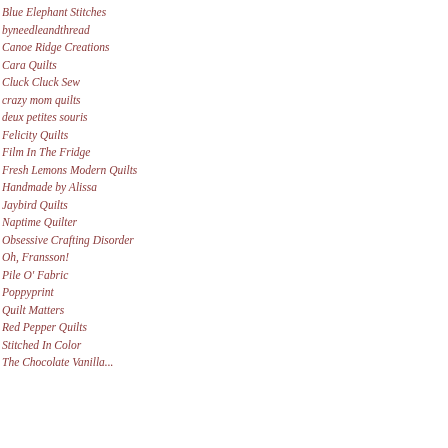Blue Elephant Stitches
byneedleandthread
Canoe Ridge Creations
Cara Quilts
Cluck Cluck Sew
crazy mom quilts
deux petites souris
Felicity Quilts
Film In The Fridge
Fresh Lemons Modern Quilts
Handmade by Alissa
Jaybird Quilts
Naptime Quilter
Obsessive Crafting Disorder
Oh, Fransson!
Pile O' Fabric
Poppyprint
Quilt Matters
Red Pepper Quilts
Stitched In Color
The Chocolate Vanilla...